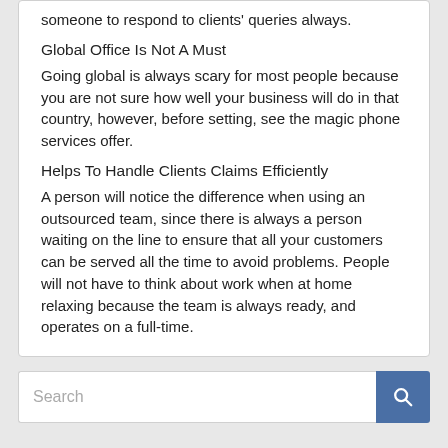someone to respond to clients' queries always.
Global Office Is Not A Must
Going global is always scary for most people because you are not sure how well your business will do in that country, however, before setting, see the magic phone services offer.
Helps To Handle Clients Claims Efficiently
A person will notice the difference when using an outsourced team, since there is always a person waiting on the line to ensure that all your customers can be served all the time to avoid problems. People will not have to think about work when at home relaxing because the team is always ready, and operates on a full-time.
Search
Categories
Advertising & Marketing